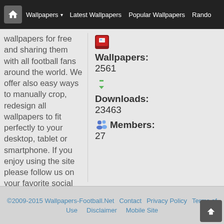Wallpapers | Latest Wallpapers | Popular Wallpapers | Random
wallpapers for free and sharing them with all football fans around the world. We offer also easy ways to manually crop, redesign all wallpapers to fit perfectly to your desktop, tablet or smartphone. If you enjoy using the site please follow us on your favorite social networks so we can grow up and enjoy the Football Magic together.
Wallpapers: 2561
Downloads: 23463
Members: 27
©2009-2015 Wallpapers-Football.Net   Contact   Privacy Policy   Terms of Use   Disclaimer   Mobile Site